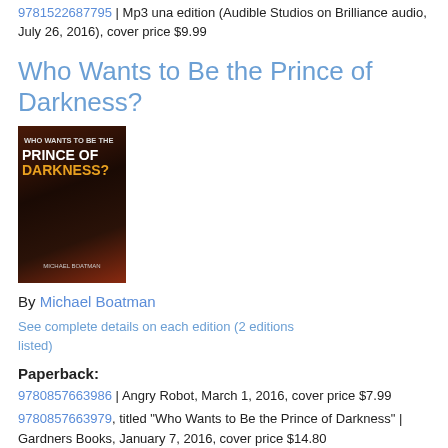9781522687795 | Mp3 una edition (Audible Studios on Brilliance audio, July 26, 2016), cover price $9.99
Who Wants to Be the Prince of Darkness?
[Figure (photo): Book cover of 'Who Wants to Be the Prince of Darkness?' showing dark red/brown background with bold white and orange text]
By Michael Boatman
See complete details on each edition (2 editions listed)
Paperback:
9780857663986 | Angry Robot, March 1, 2016, cover price $7.99
9780857663979, titled "Who Wants to Be the Prince of Darkness" | Gardners Books, January 7, 2016, cover price $14.80
Hope to Die